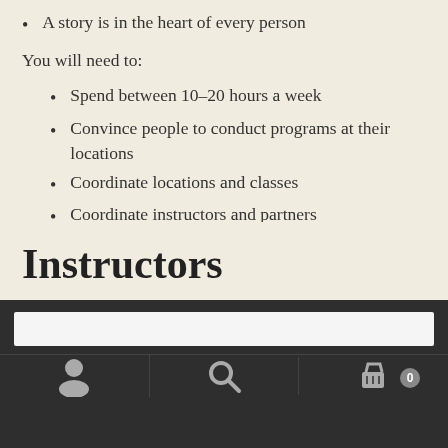A story is in the heart of every person
You will need to:
Spend between 10&ndash;20 hours a week
Convince people to conduct programs at their locations
Coordinate locations and classes
Coordinate instructors and partners
Work on a commission-based income
Instructors
[Figure (screenshot): Dark navigation bar with search input, user icon, search icon, and shopping cart icon with badge showing 0]